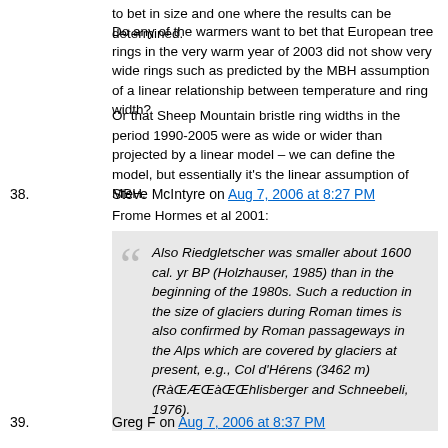to bet in size and one where the results can be determined.
Do any of the warmers want to bet that European tree rings in the very warm year of 2003 did not show very wide rings such as predicted by the MBH assumption of a linear relationship between temperature and ring width?
Or that Sheep Mountain bristle ring widths in the period 1990-2005 were as wide or wider than projected by a linear model – we can define the model, but essentially it's the linear assumption of MBH.
I'll bet either.
38.  Steve McIntyre on Aug 7, 2006 at 8:27 PM
Frome Hormes et al 2001:
Also Riedgletscher was smaller about 1600 cal. yr BP (Holzhauser, 1985) than in the beginning of the 1980s. Such a reduction in the size of glaciers during Roman times is also confirmed by Roman passageways in the Alps which are covered by glaciers at present, e.g., Col d'Hérens (3462 m) (RàŒÆŒàŒŒhlisberger and Schneebeli, 1976).
39.  Greg F on Aug 7, 2006 at 8:37 PM